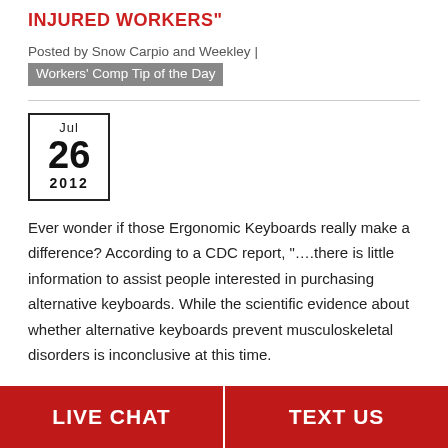INJURED WORKERS"
Posted by Snow Carpio and Weekley | Workers' Comp Tip of the Day
[Figure (other): Date box showing Jul 26 2012]
Ever wonder if those Ergonomic Keyboards really make a difference? According to a CDC report, "....there is little information to assist people interested in purchasing alternative keyboards. While the scientific evidence about whether alternative keyboards prevent musculoskeletal disorders is inconclusive at this time.
LIVE CHAT   TEXT US